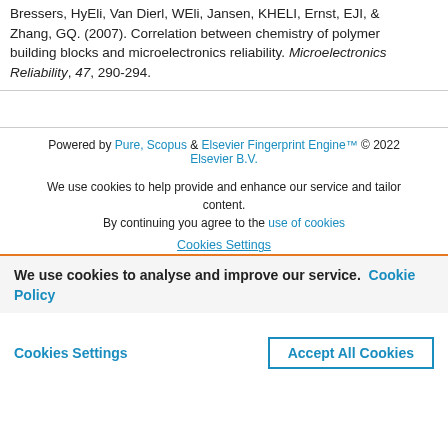Bressers, HyEli, Van Dierl, WEli, Jansen, KHELI, Ernst, EJI, & Zhang, GQ. (2007). Correlation between chemistry of polymer building blocks and microelectronics reliability. Microelectronics Reliability, 47, 290-294.
Powered by Pure, Scopus & Elsevier Fingerprint Engine™ © 2022 Elsevier B.V.
We use cookies to help provide and enhance our service and tailor content. By continuing you agree to the use of cookies
Cookies Settings
We use cookies to analyse and improve our service. Cookie Policy
Cookies Settings
Accept All Cookies